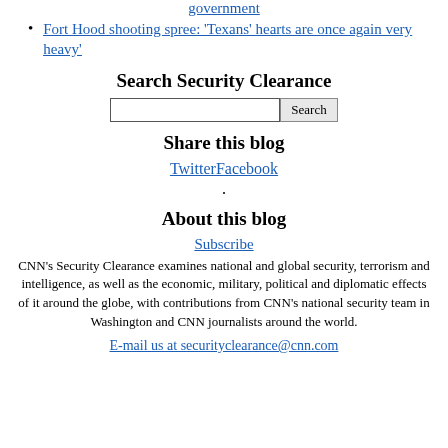Fort Hood shooting spree: 'Texans' hearts are once again very heavy'
Search Security Clearance
Share this blog
TwitterFacebook
.
About this blog
Subscribe
CNN's Security Clearance examines national and global security, terrorism and intelligence, as well as the economic, military, political and diplomatic effects of it around the globe, with contributions from CNN's national security team in Washington and CNN journalists around the world.
E-mail us at securityclearance@cnn.com